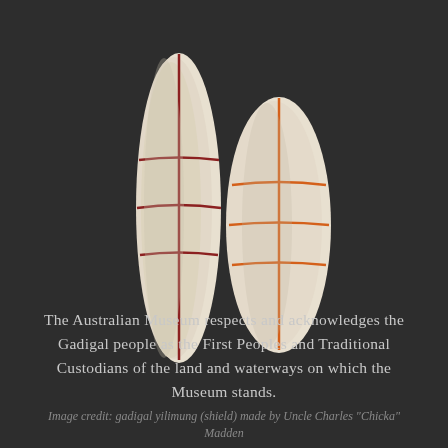[Figure (illustration): Two elongated oval shields (gadigal yilimung) displayed vertically side by side against a dark background. The left shield is taller and narrower, decorated with dark red/maroon painted lines forming a cross pattern with two horizontal bands. The right shield is slightly shorter and wider, decorated with orange painted lines forming a similar cross pattern with two horizontal bands. Both shields are cream/white in color.]
The Australian Museum respects and acknowledges the Gadigal people as the First Peoples and Traditional Custodians of the land and waterways on which the Museum stands.
Image credit: gadigal yilimung (shield) made by Uncle Charles "Chicka" Madden